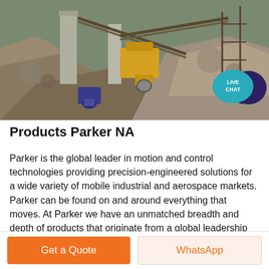[Figure (photo): Industrial quarry/mining site with yellow heavy machinery (impact crusher or conveyor system), concrete structures, rock piles, and conveyor belts on a hillside.]
[Figure (logo): Live Chat badge: teal speech bubble with 'LIVE CHAT' text and dark purple chat bubble icon to the right.]
Products Parker NA
Parker is the global leader in motion and control technologies providing precision-engineered solutions for a wide variety of mobile industrial and aerospace markets. Parker can be found on and around everything that moves. At Parker we have an unmatched breadth and depth of products that originate from a global leadership position in nine core Motion and Control technologies that include
Get a Quote
WhatsApp